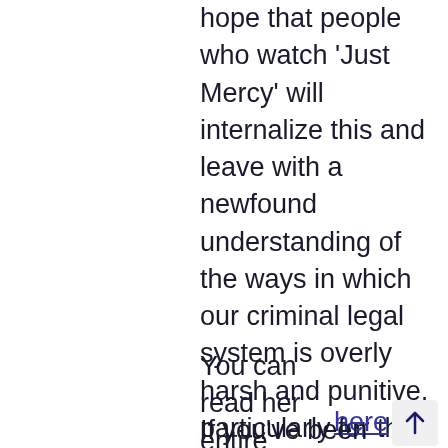hope that people who watch 'Just Mercy' will internalize this and leave with a newfound understanding of the ways in which our criminal legal system is overly harsh and punitive, particularly for the most vulnerable and disenfranchised among us. Only once we recognize the humanity of the children we serve and individuals like Richardson—and the ways in which our society has failed them—can Stevenson's bold vision for justice and mercy be realized."
You can read her entire essay here
If you've been moved by 'Just Mercy' the book or the movie and want to get involved in efforts to support restorative